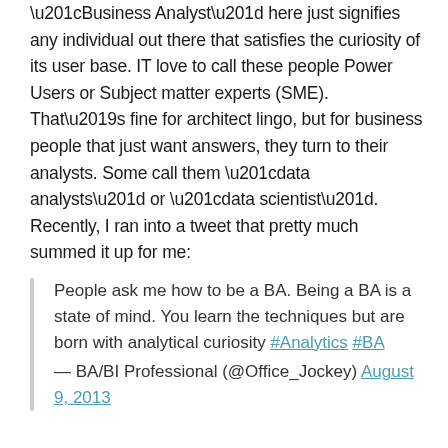“Business Analyst” here just signifies any individual out there that satisfies the curiosity of its user base. IT love to call these people Power Users or Subject matter experts (SME). That’s fine for architect lingo, but for business people that just want answers, they turn to their analysts. Some call them “data analysts” or “data scientist”. Recently, I ran into a tweet that pretty much summed it up for me:
People ask me how to be a BA. Being a BA is a state of mind. You learn the techniques but are born with analytical curiosity #Analytics #BA — BA/BI Professional (@Office_Jockey) August 9, 2013